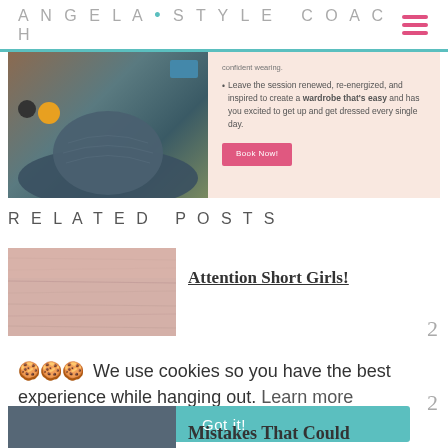ANGELA • STYLE COACH
[Figure (photo): Promotional banner with photo of accessories (hat, bag, sunglasses) on left and bullet point text with 'Book Now' button on peach background on right]
RELATED POSTS
[Figure (photo): Pink/rose colored wooden background photo for 'Attention Short Girls!' post]
Attention Short Girls!
🍪🍪🍪 We use cookies so you have the best experience while hanging out. Learn more
Got it!
[Figure (photo): Dark blue/grey toned photo thumbnail for 'Mistakes That Could' post]
Mistakes That Could